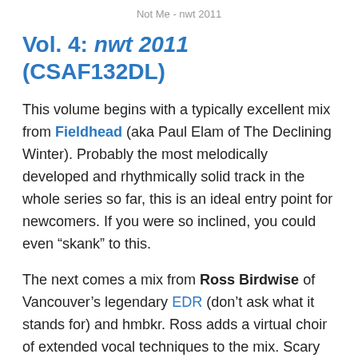Not Me - nwt 2011
Vol. 4: nwt 2011 (CSAF132DL)
This volume begins with a typically excellent mix from Fieldhead (aka Paul Elam of The Declining Winter). Probably the most melodically developed and rhythmically solid track in the whole series so far, this is an ideal entry point for newcomers. If you were so inclined, you could even “skank” to this.
The next comes a mix from Ross Birdwise of Vancouver’s legendary EDR (don’t ask what it stands for) and hmbkr. Ross adds a virtual choir of extended vocal techniques to the mix. Scary and brilliant in equal measure, this will appeal to folks who enjoyed Carsten